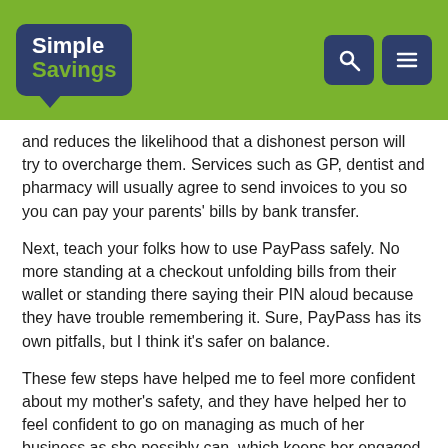Simple Savings
and reduces the likelihood that a dishonest person will try to overcharge them. Services such as GP, dentist and pharmacy will usually agree to send invoices to you so you can pay your parents' bills by bank transfer.
Next, teach your folks how to use PayPass safely. No more standing at a checkout unfolding bills from their wallet or standing there saying their PIN aloud because they have trouble remembering it. Sure, PayPass has its own pitfalls, but I think it's safer on balance.
These few steps have helped me to feel more confident about my mother's safety, and they have helped her to feel confident to go on managing as much of her business as she possibly can, which keeps her engaged and independent. Wins all round!
Contributed by: Kate Hitchens
Create your own alert system for elderly parents